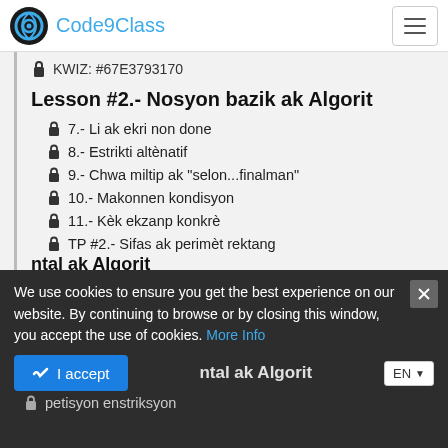Code9Class
KWIZ: #67E3793170
Lesson #2.- Nosyon bazik ak Algorit
7.- Li ak ekri non done
8.- Estrikti altènatif
9.- Chwa miltip ak "selon...finalman"
10.- Makonnen kondisyon
11.- Kèk ekzanp konkrè
TP #2.- Sifas ak perimèt rektang
TP #3.- Rezilta bakaloreya
We use cookies to ensure you get the best experience on our website. By continuing to browse or by closing this window, you accept the use of cookies. More Info
I accept
ntal ak Algorit
petisyon enstriksyon